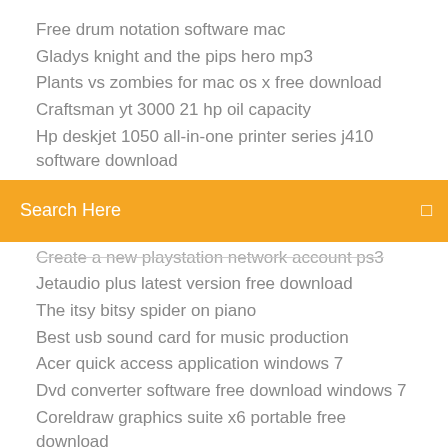Free drum notation software mac
Gladys knight and the pips hero mp3
Plants vs zombies for mac os x free download
Craftsman yt 3000 21 hp oil capacity
Hp deskjet 1050 all-in-one printer series j410 software download
[Figure (screenshot): Orange search bar with text 'Search Here' and a search icon on the right]
Create a new playstation network account ps3
Jetaudio plus latest version free download
The itsy bitsy spider on piano
Best usb sound card for music production
Acer quick access application windows 7
Dvd converter software free download windows 7
Coreldraw graphics suite x6 portable free download
How (and Why) to Partition Your Hard Drive | PCWorld